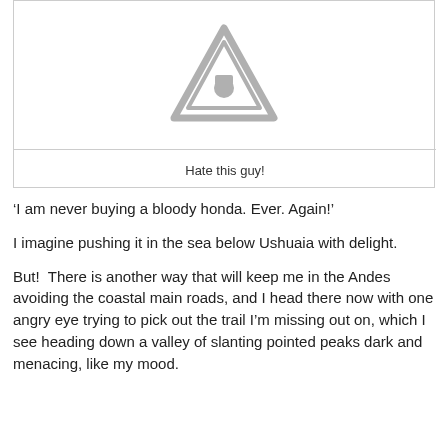[Figure (illustration): A gray warning/caution triangle road sign icon with a circle in the center, shown on a white background inside a bordered box.]
Hate this guy!
‘I am never buying a bloody honda. Ever. Again!’
I imagine pushing it in the sea below Ushuaia with delight.
But!  There is another way that will keep me in the Andes avoiding the coastal main roads, and I head there now with one angry eye trying to pick out the trail I’m missing out on, which I see heading down a valley of slanting pointed peaks dark and menacing, like my mood.